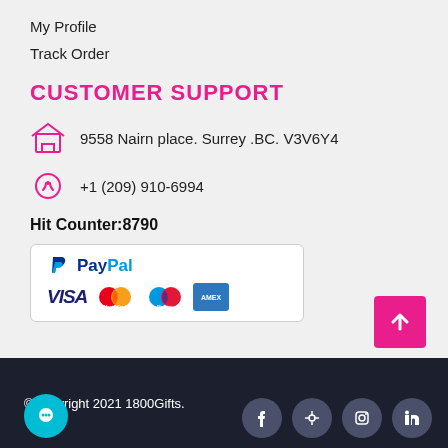My Profile
Track Order
CUSTOMER SUPPORT
9558 Nairn place. Surrey .BC. V3V6Y4
+1 (209) 910-6994
Hit Counter:8790
[Figure (logo): PayPal and payment cards logos including Visa, Mastercard, Maestro, and American Express]
[Figure (other): Pink scroll-to-top button with upward arrow]
©Copyright 2021 1800Gifts.